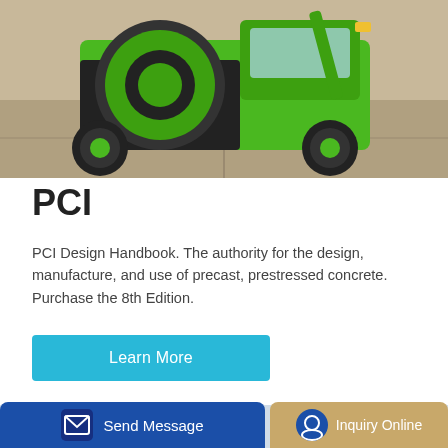[Figure (photo): Green concrete mixer / construction machine on pavement background]
PCI
PCI Design Handbook. The authority for the design, manufacture, and use of precast, prestressed concrete. Purchase the 8th Edition.
Learn More
[Figure (photo): Industrial concrete silos with blue and white stripes and red flags on top]
Send Message
Inquiry Online